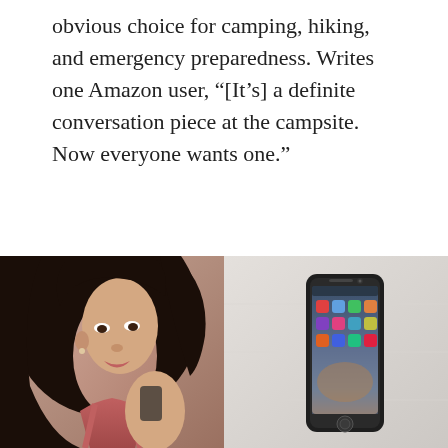obvious choice for camping, hiking, and emergency preparedness. Writes one Amazon user, “[It’s] a definite conversation piece at the campsite. Now everyone wants one.”
[Figure (other): Orange button labeled 'Buy It Here']
[Figure (photo): Photo of a woman with dark hair wearing a pink/red top, looking down at something she is holding]
[Figure (photo): Photo of an iPhone with apps visible on the screen, placed against a light gray wall background]